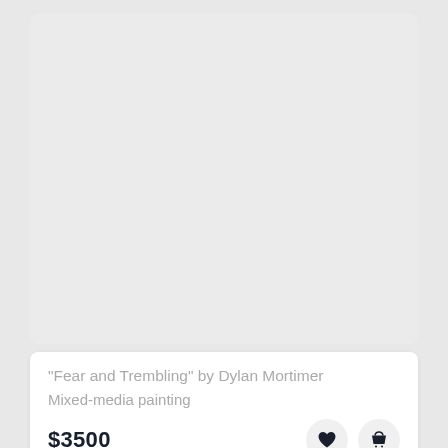[Figure (other): Gray placeholder image area at top of card]
"Fear and Trembling" by Dylan Mortimer
Mixed-media painting
$3500
[Figure (other): Gray placeholder image area at bottom of page]